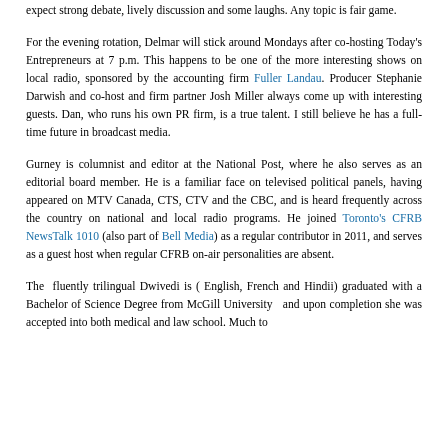expect strong debate, lively discussion and some laughs. Any topic is fair game.
For the evening rotation, Delmar will stick around Mondays after co-hosting Today's Entrepreneurs at 7 p.m. This happens to be one of the more interesting shows on local radio, sponsored by the accounting firm Fuller Landau. Producer Stephanie Darwish and co-host and firm partner Josh Miller always come up with interesting guests. Dan, who runs his own PR firm, is a true talent. I still believe he has a full-time future in broadcast media.
Gurney is columnist and editor at the National Post, where he also serves as an editorial board member. He is a familiar face on televised political panels, having appeared on MTV Canada, CTS, CTV and the CBC, and is heard frequently across the country on national and local radio programs. He joined Toronto's CFRB NewsTalk 1010 (also part of Bell Media) as a regular contributor in 2011, and serves as a guest host when regular CFRB on-air personalities are absent.
The fluently trilingual Dwivedi is ( English, French and Hindii) graduated with a Bachelor of Science Degree from McGill University and upon completion she was accepted into both medical and law school. Much to